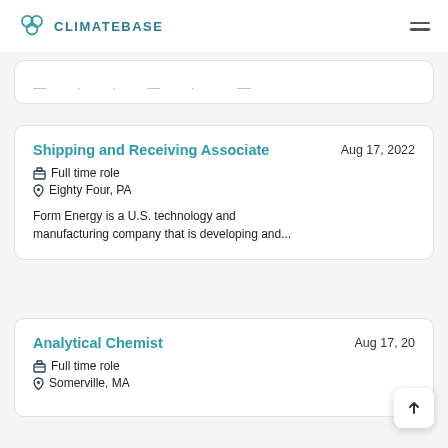CLIMATEBASE
— · · — ·  —
Shipping and Receiving Associate · Aug 17, 2022 · Full time role · Eighty Four, PA · Form Energy is a U.S. technology and manufacturing company that is developing and...
Analytical Chemist · Aug 17, 20 · Full time role · Somerville, MA